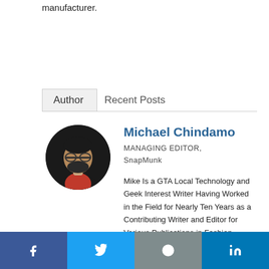manufacturer.
Author   Recent Posts
[Figure (photo): Circular profile photo of Michael Chindamo, a man with glasses and beard wearing a red shirt and black jacket]
Michael Chindamo
MANAGING EDITOR, SnapMunk
Mike Is a GTA Local Technology and Geek Interest Writer Having Worked in the Field for Nearly Ten Years as a Contributing Writer and Editor for Various Publications in Fashion, Entertainment, Gaming and News. Since Then He's
f  [Twitter]  [Reddit]  in